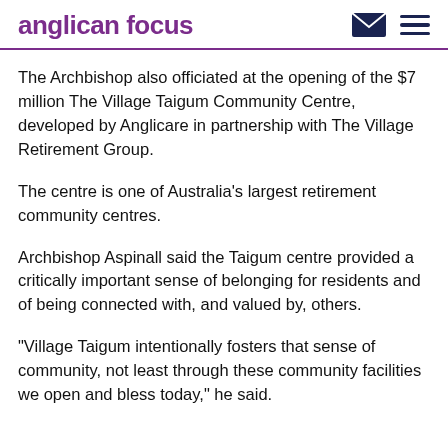anglican focus
The Archbishop also officiated at the opening of the $7 million The Village Taigum Community Centre, developed by Anglicare in partnership with The Village Retirement Group.
The centre is one of Australia’s largest retirement community centres.
Archbishop Aspinall said the Taigum centre provided a critically important sense of belonging for residents and of being connected with, and valued by, others.
“Village Taigum intentionally fosters that sense of community, not least through these community facilities we open and bless today,” he said.